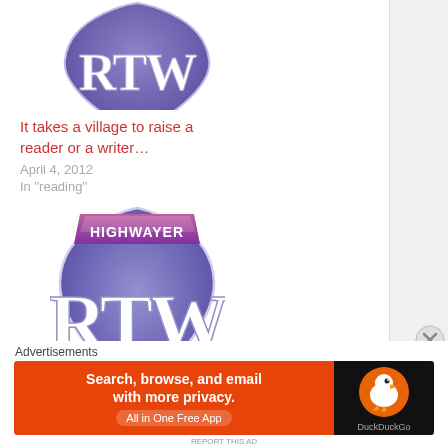[Figure (logo): RTW purple shield logo (top, partially cropped)]
It takes a village to raise a reader or a writer…
April 4, 2012
In "reading"
[Figure (logo): HIGHWAYER RTW purple shield logo with highway sign style]
Best Books of the Month
Advertisements
[Figure (screenshot): DuckDuckGo advertisement banner: Search, browse, and email with more privacy. All in One Free App]